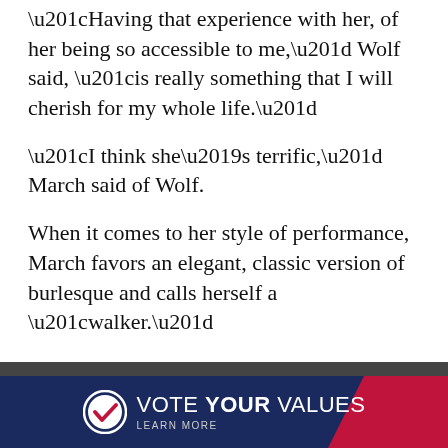“Having that experience with her, of her being so accessible to me,” Wolf said, “is really something that I will cherish for my whole life.”
“I think she’s terrific,” March said of Wolf.
When it comes to her style of performance, March favors an elegant, classic version of burlesque and calls herself a “walker.”
“I can spend five minutes taking off gloves without people getting bored,” March said.
She thinks some modern performers come out of their wardrobe too quickly.
Wolf confirmed that March and other renowned burlesque
[Figure (other): Vote Your Values advertisement banner with navy blue and red background, checkmark logo, and text VOTE YOUR VALUES LEARN MORE]